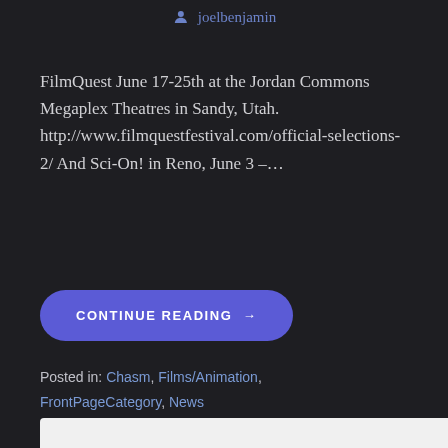joelbenjamin
FilmQuest June 17-25th at the Jordan Commons Megaplex Theatres in Sandy, Utah. http://www.filmquestfestival.com/official-selections-2/ And Sci-On! in Reno, June 3 –…
CONTINUE READING →
Posted in: Chasm, Films/Animation, FrontPageCategory, News
Filed under: Chasm, featured, film festival